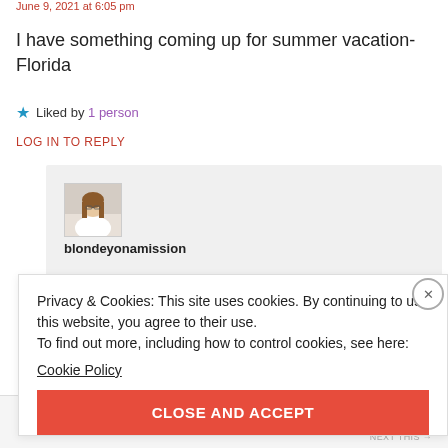June 9, 2021 at 6:05 pm
I have something coming up for summer vacation- Florida
★ Liked by 1 person
LOG IN TO REPLY
[Figure (photo): Profile photo of a young woman with long hair, wearing a white top]
blondeyonamission
Privacy & Cookies: This site uses cookies. By continuing to use this website, you agree to their use. To find out more, including how to control cookies, see here: Cookie Policy
CLOSE AND ACCEPT